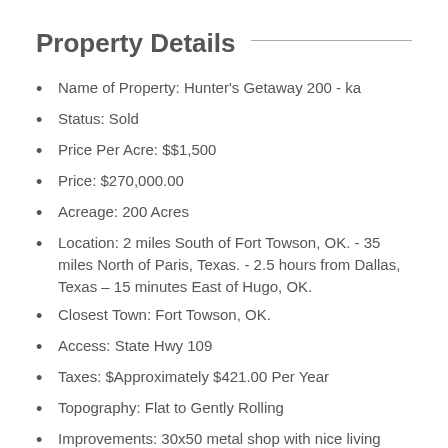Property Details
Name of Property: Hunter's Getaway 200 - ka
Status: Sold
Price Per Acre: $$1,500
Price: $270,000.00
Acreage: 200 Acres
Location: 2 miles South of Fort Towson, OK. - 35 miles North of Paris, Texas. - 2.5 hours from Dallas, Texas – 15 minutes East of Hugo, OK.
Closest Town: Fort Towson, OK.
Access: State Hwy 109
Taxes: $Approximately $421.00 Per Year
Topography: Flat to Gently Rolling
Improvements: 30x50 metal shop with nice living quarters, excellent fences